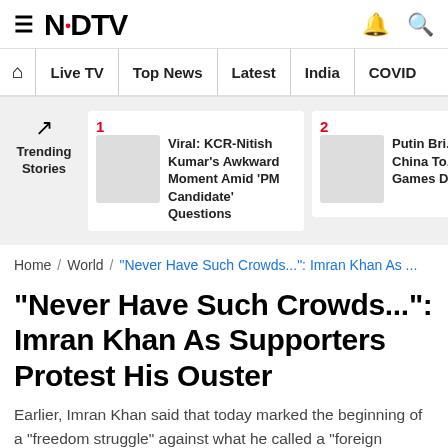NDTV
Home | Live TV | Top News | Latest | India | COVID
Trending Stories
1. Viral: KCR-Nitish Kumar's Awkward Moment Amid 'PM Candidate' Questions
2. Putin Bri... China To... Games D...
Home / World / "Never Have Such Crowds...": Imran Khan As ...
"Never Have Such Crowds...": Imran Khan As Supporters Protest His Ouster
Earlier, Imran Khan said that today marked the beginning of a "freedom struggle" against what he called a "foreign conspiracy of regime change".